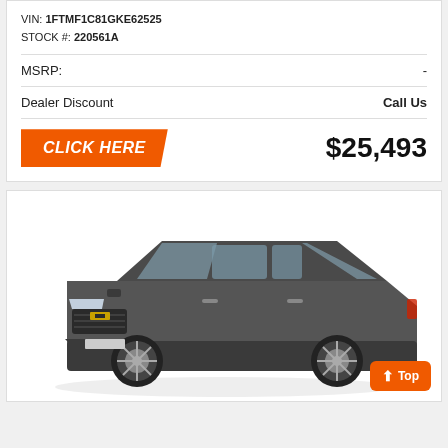VIN: 1FTMF1C81GKE62525
STOCK #: 220561A
| MSRP: | - |
| Dealer Discount | Call Us |
CLICK HERE
$25,493
[Figure (photo): Dark gray Chevrolet Traverse SUV, 3/4 front view on white background]
Top